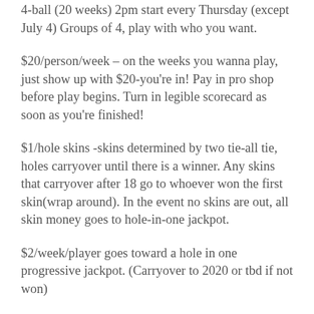4-ball (20 weeks) 2pm start every Thursday (except July 4) Groups of 4, play with who you want.
$20/person/week – on the weeks you wanna play, just show up with $20-you're in! Pay in pro shop before play begins. Turn in legible scorecard as soon as you're finished!
$1/hole skins -skins determined by two tie-all tie, holes carryover until there is a winner. Any skins that carryover after 18 go to whoever won the first skin(wrap around). In the event no skins are out, all skin money goes to hole-in-one jackpot.
$2/week/player goes toward a hole in one progressive jackpot. (Carryover to 2020 or tbd if not won)